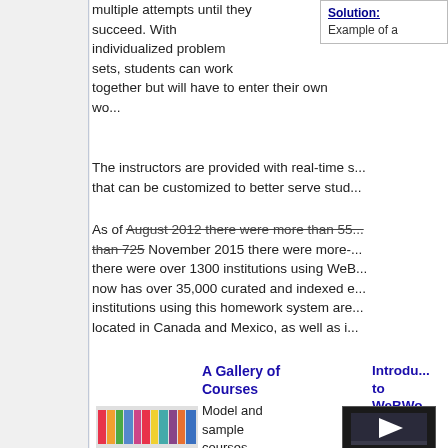multiple attempts until they succeed. With individualized problem sets, students can work together but will have to enter their own wo...
[Figure (screenshot): Solution box partially visible in top right corner with label 'Solution:' and text 'Example of a']
The instructors are provided with real-time s... that can be customized to better serve stud...
As of August 2012 there were more than 55... than 725 November 2015 there were more-... there were over 1300 institutions using WeB... now has over 35,000 curated and indexed e... institutions using this homework system are... located in Canada and Mexico, as well as i...
A Gallery of Courses
Model and sample courses
[Figure (photo): Books on a shelf - colorful spines]
Introdu... to WeBWo...
An artic... and vide... summa...
[Figure (screenshot): Video thumbnail with play button]